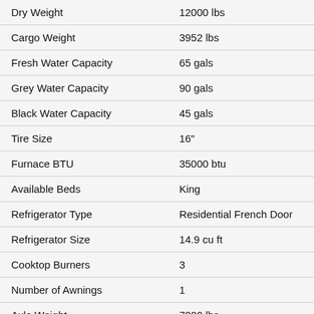| Specification | Value |
| --- | --- |
| Dry Weight | 12000 lbs |
| Cargo Weight | 3952 lbs |
| Fresh Water Capacity | 65 gals |
| Grey Water Capacity | 90 gals |
| Black Water Capacity | 45 gals |
| Tire Size | 16" |
| Furnace BTU | 35000 btu |
| Available Beds | King |
| Refrigerator Type | Residential French Door |
| Refrigerator Size | 14.9 cu ft |
| Cooktop Burners | 3 |
| Number of Awnings | 1 |
| Axle Weight | 7000 lbs |
| LP Tank Capacity | 30 lbs |